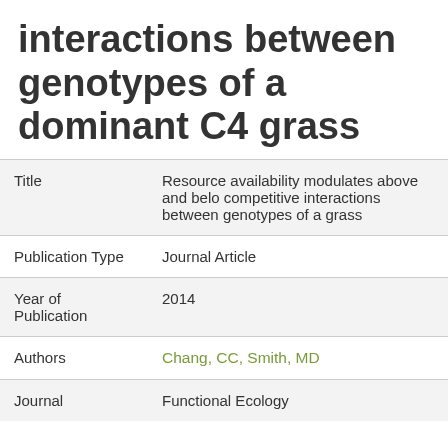interactions between genotypes of a dominant C4 grass
| Field | Value |
| --- | --- |
| Title | Resource availability modulates above and belowground competitive interactions between genotypes of a dominant C4 grass |
| Publication Type | Journal Article |
| Year of Publication | 2014 |
| Authors | Chang, CC, Smith, MD |
| Journal | Functional Ecology |